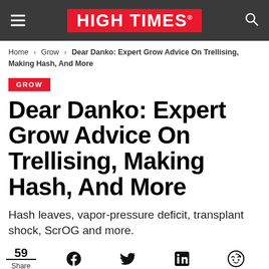HIGH TIMES
Home > Grow > Dear Danko: Expert Grow Advice On Trellising, Making Hash, And More
GROW
Dear Danko: Expert Grow Advice On Trellising, Making Hash, And More
Hash leaves, vapor-pressure deficit, transplant shock, ScrOG and more.
59 Share